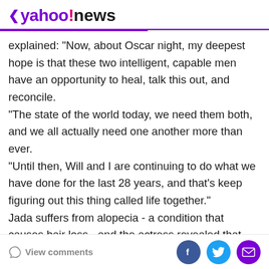< yahoo!news
explained: "Now, about Oscar night, my deepest hope is that these two intelligent, capable men have an opportunity to heal, talk this out, and reconcile. "The state of the world today, we need them both, and we all actually need one another more than ever. "Until then, Will and I are continuing to do what we have done for the last 28 years, and that's keep figuring out this thing called life together." Jada suffers from alopecia - a condition that causes hair loss - and the actress revealed that "thousands" of people have contacted her since the Oscars ceremony, when Chris made a joke about her appearance. She said: "Considering what I've been through with my
View comments